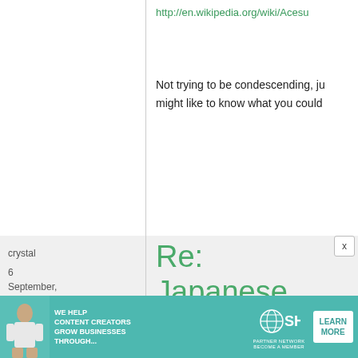http://en.wikipedia.org/wiki/Acesu
Not trying to be condescending, ju might like to know what you could
crystal
6 September, 2010 - 05:55
permalink
Re: Japanese food and beverages for diabetics and low-
[Figure (photo): Advertisement banner for SHE Media Partner Network with woman and text: WE HELP CONTENT CREATORS GROW BUSINESSES THROUGH... LEARN MORE]